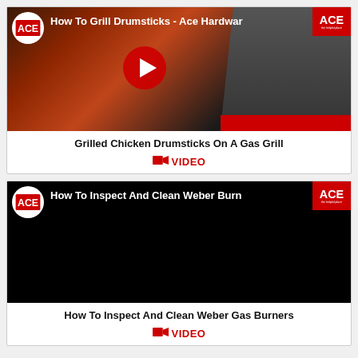[Figure (screenshot): YouTube video thumbnail for 'How To Grill Drumsticks - Ace Hardware' showing grilled chicken drumsticks and a man with glasses and beard, with ACE Hardware branding and red play button]
Grilled Chicken Drumsticks On A Gas Grill
VIDEO
[Figure (screenshot): YouTube video thumbnail for 'How To Inspect And Clean Weber Burners' with black background and ACE Hardware branding]
How To Inspect And Clean Weber Gas Burners
VIDEO